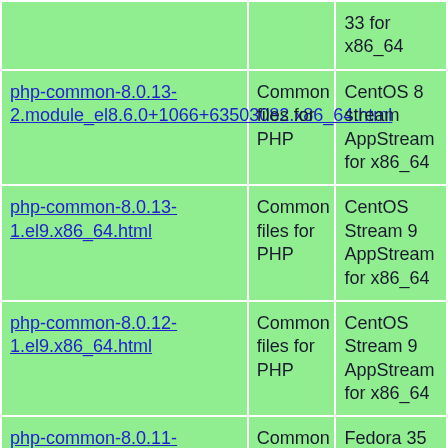| Package | Description | Repository |
| --- | --- | --- |
|  |  | 33 for x86_64 |
| php-common-8.0.13-2.module_el8.6.0+1066+63503082.x86_64.html | Common files for PHP | CentOS 8 stream AppStream for x86_64 |
| php-common-8.0.13-1.el9.x86_64.html | Common files for PHP | CentOS Stream 9 AppStream for x86_64 |
| php-common-8.0.12-1.el9.x86_64.html | Common files for PHP | CentOS Stream 9 AppStream for x86_64 |
| php-common-8.0.11-1.fc35.x86_64.html | Common files for PHP | Fedora 35 for x86_64 |
| php-common-8.0.10-2.fc32.remi.x86_64.html | Common files for PHP | Remi's RPM Modular for Fedora 32 for x86_64 |
|  |  | Remi's |